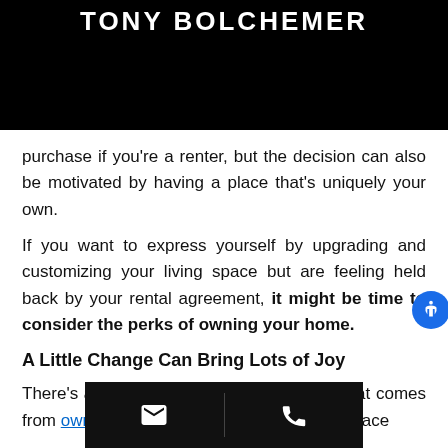TONY BOLCHEMER
purchase if you're a renter, but the decision can also be motivated by having a place that's uniquely your own.
If you want to express yourself by upgrading and customizing your living space but are feeling held back by your rental agreement, it might be time to consider the perks of owning your home.
A Little Change Can Bring Lots of Joy
There's a sign[ificant sense of satisfaction th]at comes from owning a home. That's because it's a space